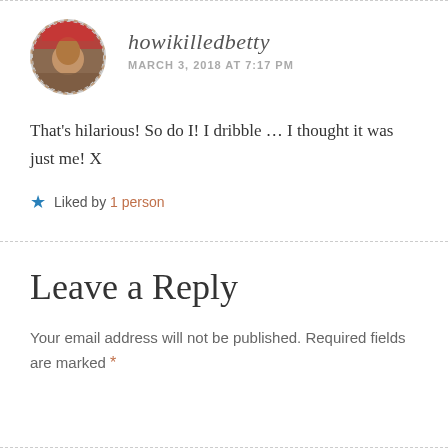[Figure (photo): Circular avatar photo of a person at an outdoor cafe with red awning, bordered by a dashed circle]
howikilledbetty
MARCH 3, 2018 AT 7:17 PM
That's hilarious! So do I! I dribble … I thought it was just me! X
Liked by 1 person
Leave a Reply
Your email address will not be published. Required fields are marked *